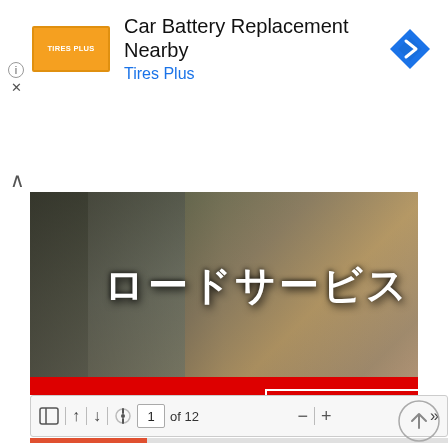[Figure (screenshot): Google ad banner for Tires Plus: Car Battery Replacement Nearby, with Tires Plus logo, navigation icon, info and close controls]
[Figure (screenshot): Japanese roadside service advertisement showing car engine and road image with text ロードサービス (road service) and bottom red bar with 車のトラブルがあっても安心 お申込みはこちらから> (Peace of mind even with car trouble - Apply here)]
[Figure (screenshot): PDF viewer toolbar showing navigation controls: sidebar toggle, up/down arrows, loading spinner, page 1 of 12, zoom out/in, and forward skip; with orange progress bar and blank white document page below]